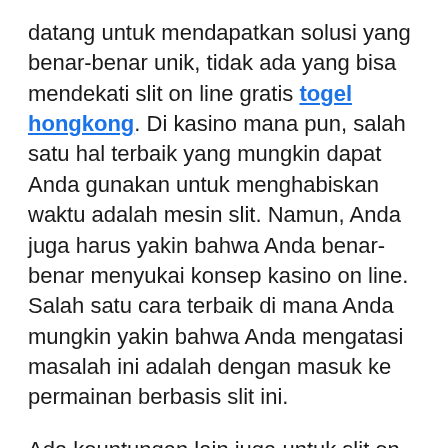datang untuk mendapatkan solusi yang benar-benar unik, tidak ada yang bisa mendekati slit on line gratis togel hongkong. Di kasino mana pun, salah satu hal terbaik yang mungkin dapat Anda gunakan untuk menghabiskan waktu adalah mesin slit. Namun, Anda juga harus yakin bahwa Anda benar-benar menyukai konsep kasino on line. Salah satu cara terbaik di mana Anda mungkin yakin bahwa Anda mengatasi masalah ini adalah dengan masuk ke permainan berbasis slit ini.
Ada keuntungan lain juga untuk slit on line gratis, selain yang jelas gratis. Anda dapat melakukannya ketika Anda hanya memiliki waktu luang yang singkat dan membutuhkan sesuatu yang mungkin dapat mengalihkan